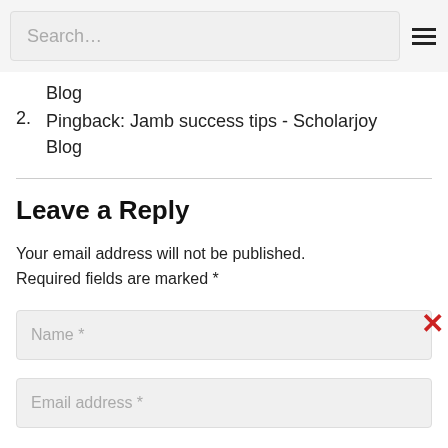Search…
Pingback: Jamb success tips - Scholarjoy Blog
2. Pingback: Jamb success tips - Scholarjoy Blog
Leave a Reply
Your email address will not be published. Required fields are marked *
Name *
Email address *